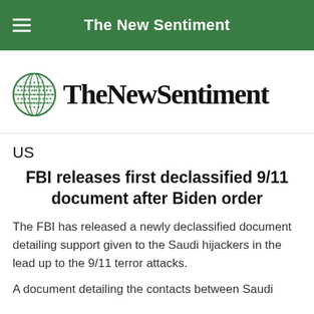The New Sentiment
[Figure (logo): TheNewSentiment globe logo with bold serif text]
US
FBI releases first declassified 9/11 document after Biden order
The FBI has released a newly declassified document detailing support given to the Saudi hijackers in the lead up to the 9/11 terror attacks.
A document detailing...